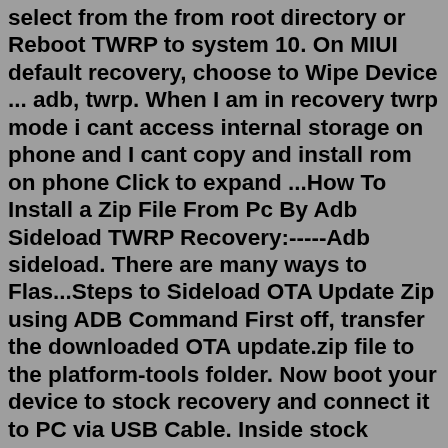select from the from root directory or Reboot TWRP to system 10. On MIUI default recovery, choose to Wipe Device ... adb, twrp. When I am in recovery twrp mode i cant access internal storage on phone and I cant copy and install rom on phone Click to expand ...How To Install a Zip File From Pc By Adb Sideload TWRP Recovery:-----Adb sideload. There are many ways to Flas...Steps to Sideload OTA Update Zip using ADB Command First off, transfer the downloaded OTA update.zip file to the platform-tools folder. Now boot your device to stock recovery and connect it to PC via USB Cable. Inside stock recovery, use Volume keys to highlight the ' Apply Update from ADB ' option and press the Power key to confirm this selection.Aug 14, 2021 · How to Install TWRP on Xiaomi Poco X3 NFC. Located the ADB and Fastboot folder on your computer; Extract TWRP Recovery file on the ADB and Fastboot folder; Rename the TWRP Recovery file to TWRP.img; In an empty area, on your keyboard hold down the shift key and right-click with the mouse, then select Open a